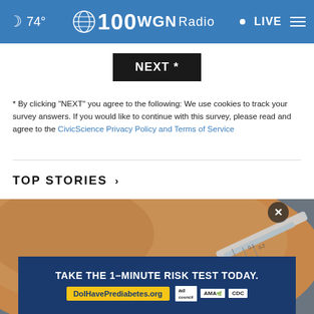74° WGN Radio 100 LIVE
NEXT *
* By clicking "NEXT" you agree to the following: We use cookies to track your survey answers. If you would like to continue with this survey, please read and agree to the CivicScience Privacy Policy and Terms of Service
TOP STORIES ›
[Figure (photo): Close-up photo of a syringe being inserted into skin, medical injection scene]
[Figure (infographic): Advertisement banner: TAKE THE 1-MINUTE RISK TEST TODAY. DoIHavePrediabetes.org with ad council, AMA, and CDC logos]